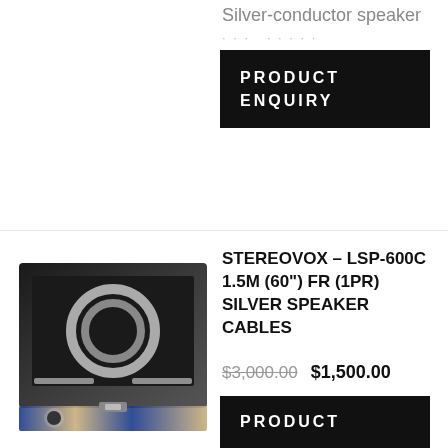Silver-conductor speaker
· · · · · · · ·
PRODUCT ENQUIRY
[Figure (photo): Stereovox LSP-600C speaker cables in a carrying case with blue and gold diagonal-stripe trim]
STEREOVOX – LSP-600C 1.5M (60") FR (1PR) SILVER SPEAKER CABLES
$3,000.00 $1,500.00
(1pr) Stereovox LSP-600C 1.5M Silver-conductor speaker cables with Silver
PRODUCT